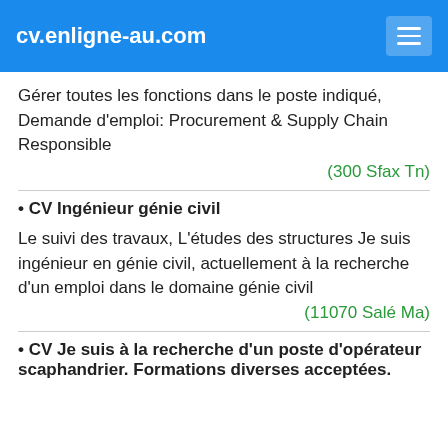cv.enligne-au.com
Gérer toutes les fonctions dans le poste indiqué, Demande d'emploi: Procurement &amp; Supply Chain Responsible
(300 Sfax Tn)
• CV Ingénieur génie civil
Le suivi des travaux, L'études des structures Je suis ingénieur en génie civil, actuellement à la recherche d'un emploi dans le domaine génie civil
(11070 Salé Ma)
• CV Je suis à la recherche d'un poste d'opérateur scaphandrier. Formations diverses acceptées.